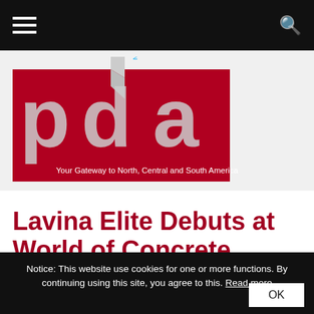Navigation bar with hamburger menu and search icon
[Figure (logo): PDA – Professional Demolition Americas logo. Red background with large grey letters 'pda', vertical text 'PROFESSIONAL', 'DEMOLITION', 'AMERICAS' in blue. Tagline: 'Your Gateway to North, Central and South America']
Lavina Elite Debuts at World of Concrete
Published: 19/3, 2019
Notice: This website use cookies for one or more functions. By continuing using this site, you agree to this. Read more